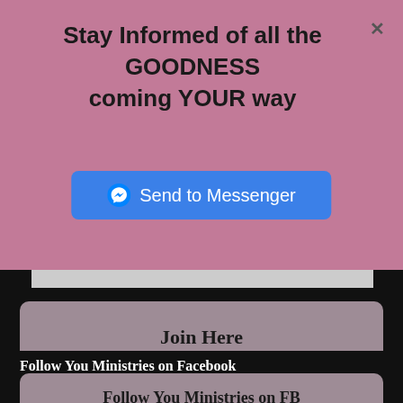Stay Informed of all the GOODNESS coming YOUR way
[Figure (screenshot): Send to Messenger button with Facebook Messenger icon on blue background]
Join Here
Follow You Ministries on Facebook
Follow You Ministries on FB